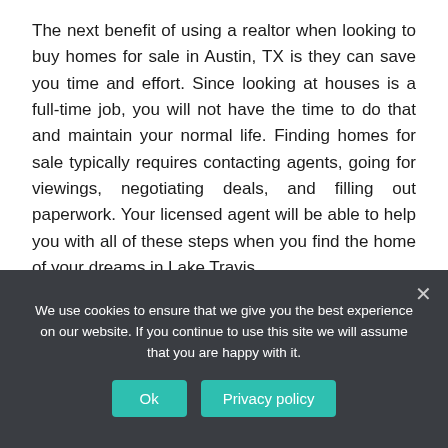The next benefit of using a realtor when looking to buy homes for sale in Austin, TX is they can save you time and effort. Since looking at houses is a full-time job, you will not have the time to do that and maintain your normal life. Finding homes for sale typically requires contacting agents, going for viewings, negotiating deals, and filling out paperwork. Your licensed agent will be able to help you with all of these steps when you find the home of your dreams in Lake Travis.
Access to inside networks
We use cookies to ensure that we give you the best experience on our website. If you continue to use this site we will assume that you are happy with it.